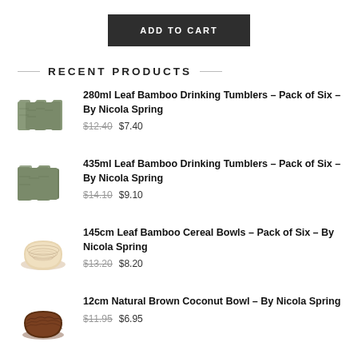ADD TO CART
RECENT PRODUCTS
280ml Leaf Bamboo Drinking Tumblers – Pack of Six – By Nicola Spring $12.40 $7.40
435ml Leaf Bamboo Drinking Tumblers – Pack of Six – By Nicola Spring $14.10 $9.10
145cm Leaf Bamboo Cereal Bowls – Pack of Six – By Nicola Spring $13.20 $8.20
12cm Natural Brown Coconut Bowl – By Nicola Spring $11.95 $6.95